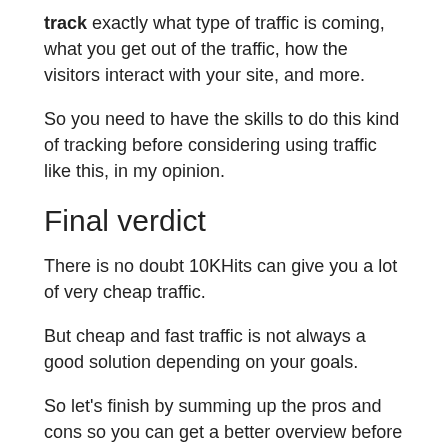track exactly what type of traffic is coming, what you get out of the traffic, how the visitors interact with your site, and more.
So you need to have the skills to do this kind of tracking before considering using traffic like this, in my opinion.
Final verdict
There is no doubt 10KHits can give you a lot of very cheap traffic.
But cheap and fast traffic is not always a good solution depending on your goals.
So let's finish by summing up the pros and cons so you can get a better overview before deciding if it is the right solution for you or not.